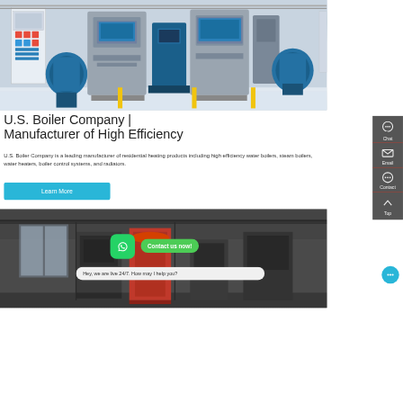[Figure (photo): Industrial boiler room with multiple large blue and silver steam boilers arranged in a row, with control panels and blue ventilation equipment visible]
U.S. Boiler Company | Manufacturer of High Efficiency
U.S. Boiler Company is a leading manufacturer of residential heating products including high efficiency water boilers, steam boilers, water heaters, boiler control systems, and radiators.
[Figure (photo): Industrial laundry or boiler facility interior with large machinery, red cylindrical equipment, and industrial infrastructure]
Hey, we are live 24/7. How may I help you?